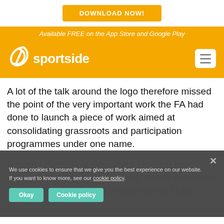[Figure (logo): Download Now button - orange/amber CTA button]
Available FREE on the App Store and Google Play
[Figure (logo): Sportside app logo with swirl icon and hamburger menu on yellow background]
A lot of the talk around the logo therefore missed the point of the very important work the FA had done to launch a piece of work aimed at consolidating grassroots and participation programmes under one name.
England Football is also about showing how inclusion, volunteering and fans' voices can make the country's most popular sport thrive in the modern world.
We use cookies to ensure that we give you the best experience on our website. If you want to know more, see our cookie policy.